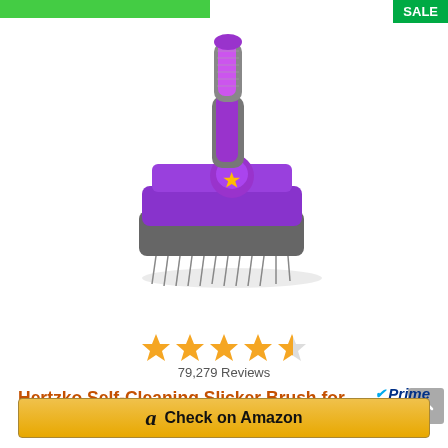[Figure (photo): Purple Hertzko Self-Cleaning Slicker Brush with gray handle and fine wire bristles]
79,279 Reviews
Hertzko Self-Cleaning Slicker Brush for Dogs, Cats - The Ultimate Dog Brush for...
Prime
Check on Amazon